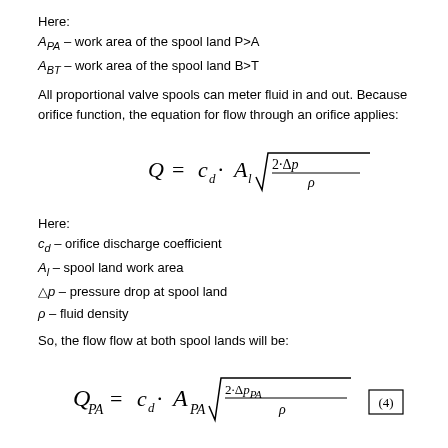Here:
A_PA – work area of the spool land P>A
A_BT – work area of the spool land B>T
All proportional valve spools can meter fluid in and out. Because orifice function, the equation for flow through an orifice applies:
Here:
c_d – orifice discharge coefficient
A_l – spool land work area
Δp – pressure drop at spool land
ρ – fluid density
So, the flow flow at both spool lands will be: